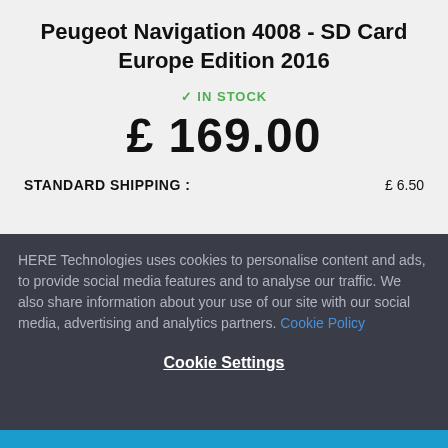Peugeot Navigation 4008 - SD Card Europe Edition 2016
IN STOCK
£ 169.00
STANDARD SHIPPING : £ 6.50
HERE Technologies uses cookies to personalise content and ads, to provide social media features and to analyse our traffic. We also share information about your use of our site with our social media, advertising and analytics partners. Cookie Policy
Cookie Settings